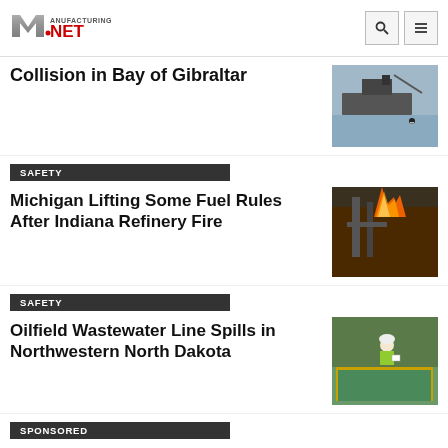Manufacturing.net
Collision in Bay of Gibraltar
[Figure (photo): Ship in water, person on paddleboard visible]
SAFETY
Michigan Lifting Some Fuel Rules After Indiana Refinery Fire
[Figure (photo): Industrial refinery fire with large flames]
SAFETY
Oilfield Wastewater Line Spills in Northwestern North Dakota
[Figure (photo): Worker in hard hat and safety vest inspecting water treatment facility]
SPONSORED